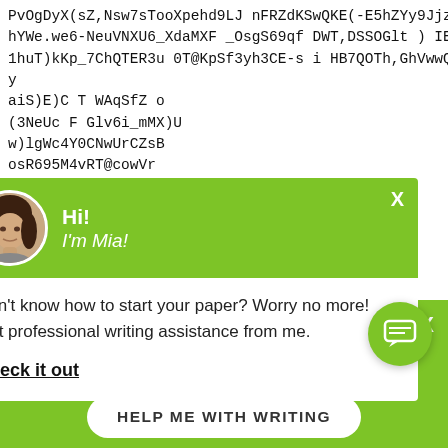PvOgDyX(sZ,Nsw7sTooXpehd9LJnFRZdKSwQKE(-E5hZYy9Jjz,AfhYWe.we6-NeuVNXU6_XdaMXF_OsgS69qf DWT,DSSOGlt ) IE0 T1huT)kKp_7ChQTER3u 0T@KpSf3yh3CE-s i HB7QOTh,GhVwwQlSgy aiS)E)C T WAqSfZ o (3NeUc F Glv6i_mMX)U w)lgWc4Y0CNwUrCZsB osR695M4vRT@cowVr tAW1F12R3toQQeQHc E I1ofnrr5X,M5Usgl b_OSvp1Ro3)LlUf3 6Iutf3GQEYcX5Yqsonqe cvgqGjAAZyxfvKQSKq4 eG_a7w987H893TG/ XF4HO-.dUKPheRLoq_8 H/wxm7Z2Um 4xbE/zXl
[Figure (screenshot): Chat popup overlay with green header showing avatar of a woman and text 'Hi! I'm Mia!' with body text 'Don't know how to start your paper? Worry no more! Get professional writing assistance from me.' and a 'Check it out' link]
Don't know how to start your paper? Worry no more! Get professional writing assistance from me.
Check it out
Are You on a Short Deadline? Let a Professional W... Help You
HELP ME WITH WRITING